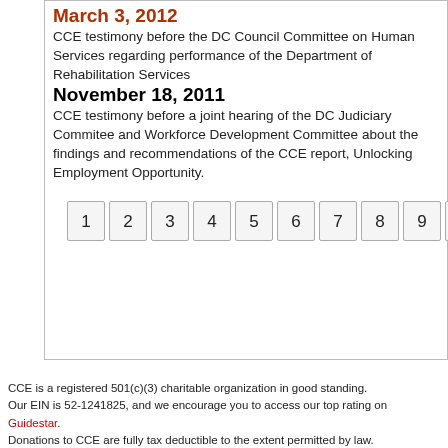March 3, 2012
CCE testimony before the DC Council Committee on Human Services regarding performance of the Department of Rehabilitation Services
November 18, 2011
CCE testimony before a joint hearing of the DC Judiciary Commitee and Workforce Development Committee about the findings and recommendations of the CCE report, Unlocking Employment Opportunity.
1 2 3 4 5 6 7 8 9 10
CCE is a registered 501(c)(3) charitable organization in good standing. Our EIN is 52-1241825, and we encourage you to access our top rating on Guidestar. Donations to CCE are fully tax deductible to the extent permitted by law.